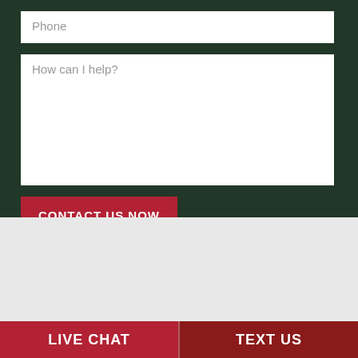Phone
How can I help?
CONTACT US NOW
OFFICE ADDRESS
20 Court Street, 3rd Floor, Hackensack, NJ 07601
PHONE
201-778-5700
[Figure (other): Social media icons: Facebook, Twitter, LinkedIn, YouTube]
LIVE CHAT
TEXT US